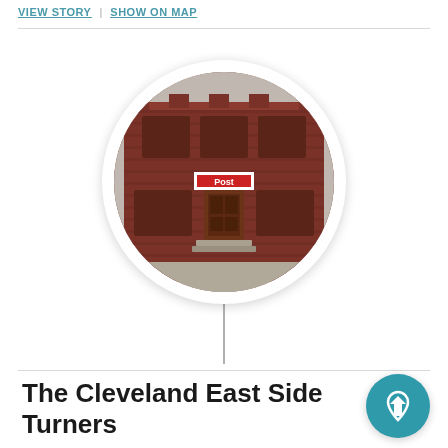VIEW STORY | SHOW ON MAP
[Figure (photo): Circular cropped photo of a red brick building facade with arched windows and a doorway with a small sign, mounted on a pin/map marker style frame]
The Cleveland East Side Turners